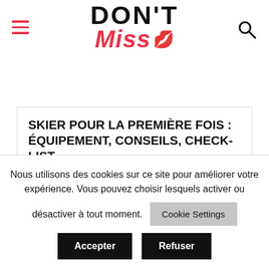[Figure (logo): DON'T Miss logo with lips icon in red and black]
SKIER POUR LA PREMIÈRE FOIS : ÉQUIPEMENT, CONSEILS, CHECK-LIST
Nous utilisons des cookies sur ce site pour améliorer votre expérience. Vous pouvez choisir lesquels activer ou désactiver à tout moment.